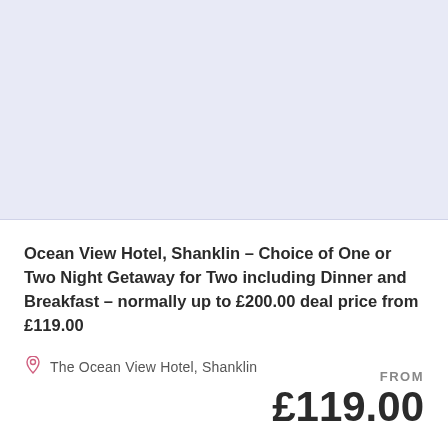[Figure (photo): Light lavender/blue placeholder image area for hotel photo]
Ocean View Hotel, Shanklin – Choice of One or Two Night Getaway for Two including Dinner and Breakfast – normally up to £200.00 deal price from £119.00
The Ocean View Hotel, Shanklin
FROM £119.00